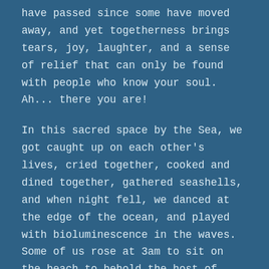have passed since some have moved away, and yet togetherness brings tears, joy, laughter, and a sense of relief that can only be found with people who know your soul.  Ah... there you are!
In this sacred space by the Sea, we got caught up on each other's lives, cried together, cooked and dined together, gathered seashells, and when night fell, we danced at the edge of the ocean, and played with bioluminescence in the waves.  Some of us rose at 3am to sit on the beach to behold the host of shooting stars that moved across the sky with the Perseids Meteor Shower.  It was pure magick!
The following words flowed from sweetest memories of deep devotion.  From the Greek